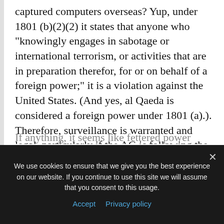captured computers overseas? Yup, under 1801 (b)(2)(2) it states that anyone who "knowingly engages in sabotage or international terrorism, or activities that are in preparation therefor, for or on behalf of a foreign power;" it is a violation against the United States. (And yes, al Qaeda is considered a foreign power under 1801 (a).). Therefore, surveillance is warranted and legal, particularly if the AG is following the rules according to the act, which it appears he has so far.
If anything, it seems like fettered power
We use cookies to ensure that we give you the best experience on our website. If you continue to use this site we will assume that you consent to this usage.